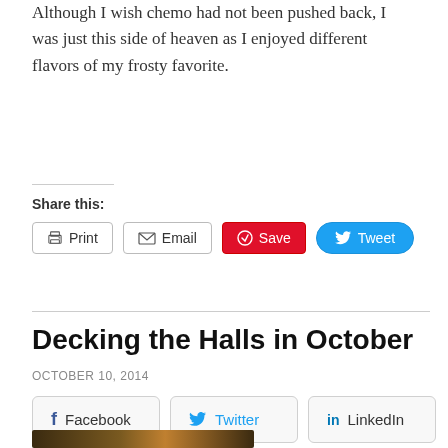Although I wish chemo had not been pushed back, I was just this side of heaven as I enjoyed different flavors of my frosty favorite.
Share this:
Print | Email | Save | Tweet
Decking the Halls in October
OCTOBER 10, 2014
Facebook | Twitter | LinkedIn
[Figure (photo): Bottom portion of a photograph showing decorations with warm golden/orange lighting against a dark background]